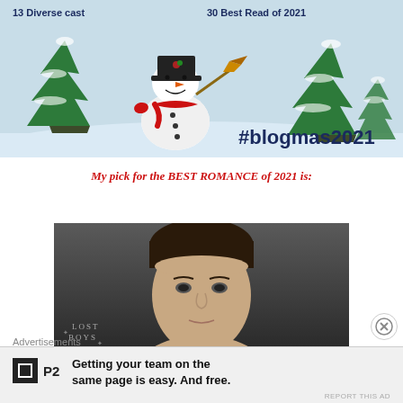[Figure (illustration): Winter/Christmas banner with snowman holding broom, Christmas trees, snowy background. Text overlay: '13 Diverse cast' and '30 Best Read of 2021' at top. '#blogmas2021' hashtag at bottom right.]
My pick for the BEST ROMANCE of 2021 is:
[Figure (photo): Partial photo of a man's face (dark hair), with 'LOST BOYS' logo/text visible in lower left of image.]
Advertisements
[Figure (logo): P2 advertisement logo with black box containing white square outline, 'P2' text, and ad copy: 'Getting your team on the same page is easy. And free.']